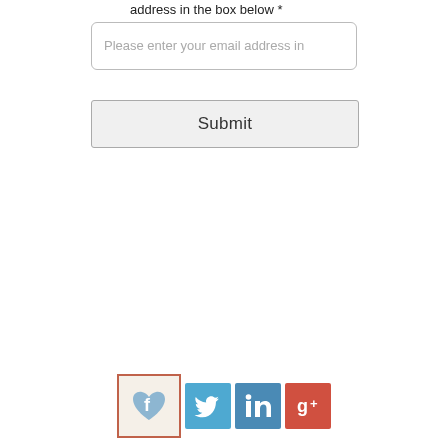address in the box below *
Please enter your email address in
Submit
[Figure (illustration): Social media icons: Facebook (with heart), Twitter, LinkedIn, Google+]